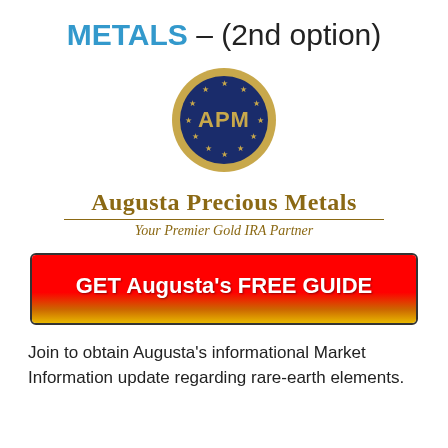METALS – (2nd option)
[Figure (logo): APM circular coin logo with gold border and dark blue center featuring 'APM' text and stars around the edge — Augusta Precious Metals logo]
Augusta Precious Metals
Your Premier Gold IRA Partner
GET Augusta's FREE GUIDE
Join to obtain Augusta's informational Market Information update regarding rare-earth elements.